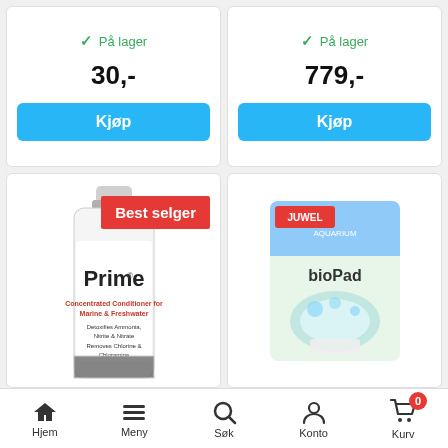På lager
30,-
Kjøp
På lager
779,-
Kjøp
[Figure (photo): Seachem Prime bottle with 'Best selger' red badge]
[Figure (photo): Juwel bioPad filter pads box]
Hjem  Meny  Søk  Konto  Kurv